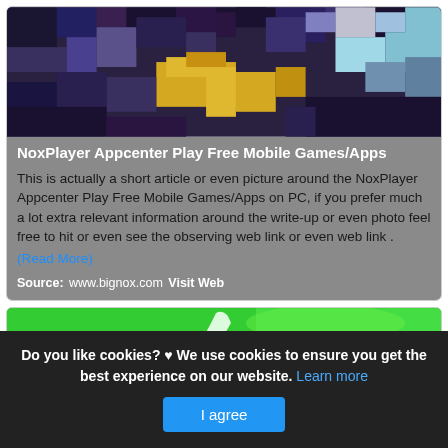[Figure (screenshot): Pixel art game screenshot showing a character/scene with blue, yellow, purple, and black pixel blocks]
NoxPlayer Appcenter Play Free Mobile Games/Apps
This is actually a short article or even picture around the NoxPlayer Appcenter Play Free Mobile Games/Apps on PC, if you prefer much a lot extra relevant information around the write-up or even photo feel free to hit or even see the observing web link or even web link .
(Read More)
Source: www.bignox.com Visit Web
[Figure (screenshot): Green gradient background with white checkmark/leaf element visible at top of second card]
Do you like cookies? ♥ We use cookies to ensure you get the best experience on our website. Learn more
I agree